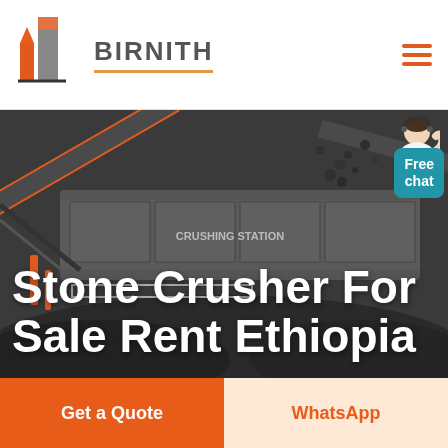[Figure (logo): Birnith company logo with orange and gray building icon and brand name BIRNITH in bold gray letters]
[Figure (photo): Industrial stone crusher / crushing station machinery photographed from low angle, dark gray tones, rocks and gravel in foreground]
Stone Crusher For Sale Rent Ethiopia
Free chat
Get a Quote
WhatsApp